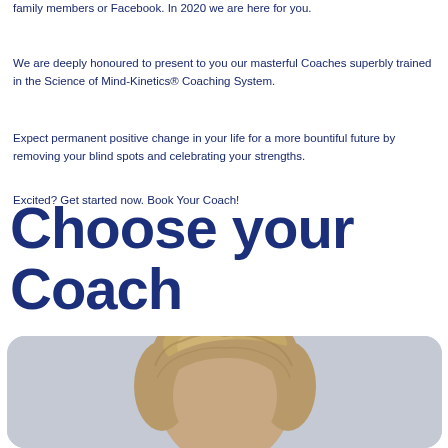family members or Facebook. In 2020 we are here for you.
We are deeply honoured to present to you our masterful Coaches superbly trained in the Science of Mind-Kinetics® Coaching System.
Expect permanent positive change in your life for a more bountiful future by removing your blind spots and celebrating your strengths.
Excited? Get started now. Book Your Coach!
Choose your Coach
[Figure (photo): Photo of a person (coach) with light brown/blonde hair, shown from approximately the shoulders up, against a light grey background, inside a rounded rectangle card.]